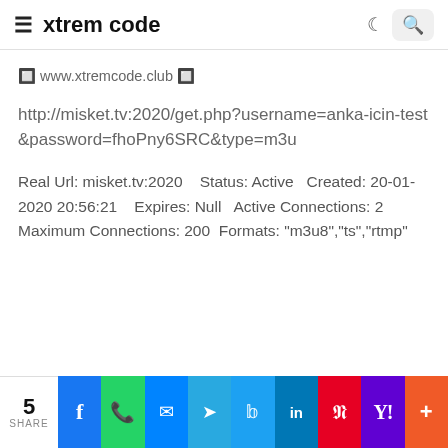≡ xtrem code
🔲 www.xtremcode.club 🔲
http://misket.tv:2020/get.php?username=anka-icin-test&password=fhoPny6SRC&type=m3u
Real Url: misket.tv:2020    Status: Active   Created: 20-01-2020 20:56:21    Expires: Null   Active Connections: 2    Maximum Connections: 200  Formats: "m3u8","ts","rtmp"
5 SHARE | Facebook | WhatsApp | Messenger | Telegram | Twitter | LinkedIn | Pinterest | Yahoo | More